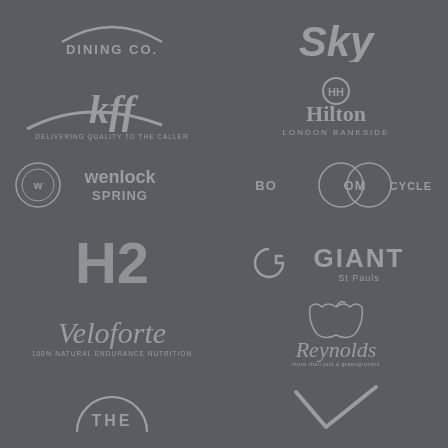[Figure (logo): DINING CO. logo (partial, top)]
[Figure (logo): Sky logo (partial, top)]
[Figure (logo): kff - Delivering quality to the caller]
[Figure (logo): Hilton London Bankside logo]
[Figure (logo): Wenlock Spring water logo]
[Figure (logo): Boom Cycle logo]
[Figure (logo): H2 logo]
[Figure (logo): Giant St Pauls logo]
[Figure (logo): Veloforte - 100% Natural Endurance Nutrition]
[Figure (logo): Reynolds - more than just a greengrocers]
[Figure (logo): THE (partial logo, bottom)]
[Figure (logo): Checkmark/tick logo (partial, bottom)]